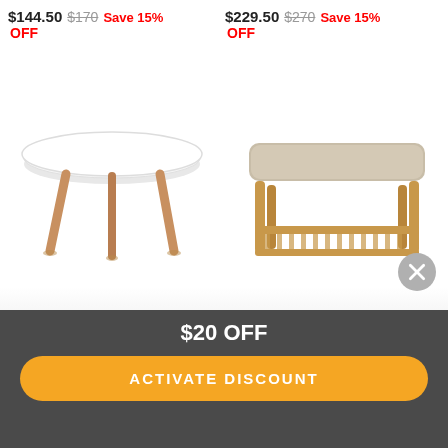$144.50  $170  Save 15% OFF
$229.50  $270  Save 15% OFF
[Figure (photo): Round white coffee table with wooden legs (Scandinavian style)]
[Figure (photo): Japandi style bench/stool with sand-colored cushion top and wooden frame with lower shelf]
Art Table Round White
Japandi Stool Sand
$20 OFF
ACTIVATE DISCOUNT